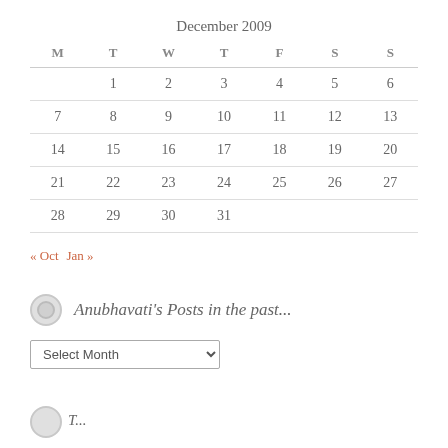December 2009
| M | T | W | T | F | S | S |
| --- | --- | --- | --- | --- | --- | --- |
|  | 1 | 2 | 3 | 4 | 5 | 6 |
| 7 | 8 | 9 | 10 | 11 | 12 | 13 |
| 14 | 15 | 16 | 17 | 18 | 19 | 20 |
| 21 | 22 | 23 | 24 | 25 | 26 | 27 |
| 28 | 29 | 30 | 31 |  |  |  |
« Oct  Jan »
Anubhavati's Posts in the past...
Select Month